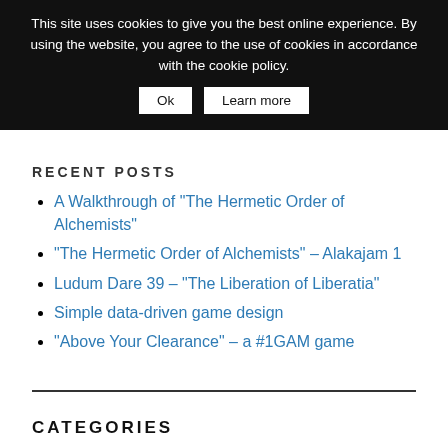This site uses cookies to give you the best online experience. By using the website, you agree to the use of cookies in accordance with the cookie policy.  Ok  Learn more
RECENT POSTS
A Walkthrough of "The Hermetic Order of Alchemists"
"The Hermetic Order of Alchemists" – Alakajam 1
Ludum Dare 39 – "The Liberation of Liberatia"
Simple data-driven game design
"Above Your Clearance" – a #1GAM game
CATEGORIES